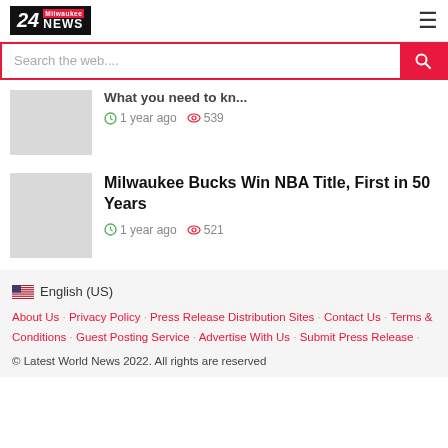24 Milwaukee NEWS
Search the web....
What you need to kn...
1 year ago  539
Milwaukee Bucks Win NBA Title, First in 50 Years
1 year ago  521
English (US)
About Us · Privacy Policy · Press Release Distribution Sites · Contact Us · Terms & Conditions · Guest Posting Service · Advertise With Us · Submit Press Release · © Latest World News 2022. All rights are reserved